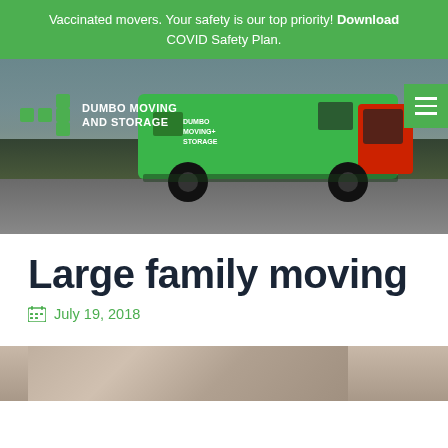Vaccinated movers. Your safety is our top priority! Download COVID Safety Plan.
[Figure (photo): Dumbo Moving and Storage branded green van parked near waterfront with company logo and contact information visible]
Large family moving
July 19, 2018
[Figure (photo): Partial photo of people at bottom of page, likely movers or family]